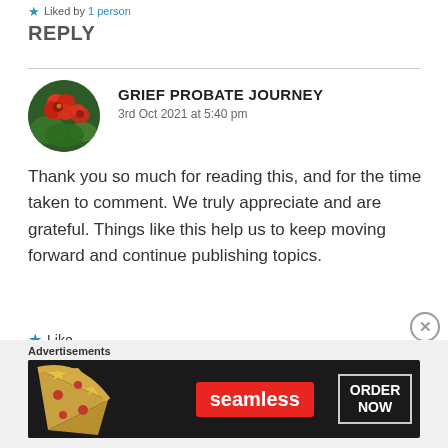Liked by 1 person
REPLY
GRIEF PROBATE JOURNEY
3rd Oct 2021 at 5:40 pm
Thank you so much for reading this, and for the time taken to comment. We truly appreciate and are grateful. Things like this help us to keep moving forward and continue publishing topics.
Like
Advertisements